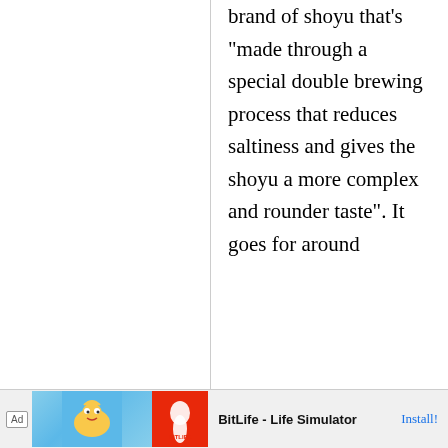brand of shoyu that's "made through a special double brewing process that reduces saltiness and gives the shoyu a more complex and rounder taste". It goes for around
[Figure (screenshot): Advertisement banner for BitLife - Life Simulator app with Install button]